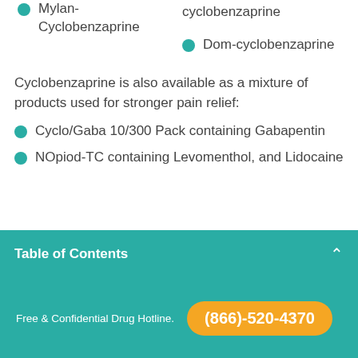Mylan-Cyclobenzaprine
cyclobenzaprine
Dom-cyclobenzaprine
Cyclobenzaprine is also available as a mixture of products used for stronger pain relief:
Cyclo/Gaba 10/300 Pack containing Gabapentin
NOpiod-TC containing Levomenthol, and Lidocaine
Table of Contents
Free & Confidential Drug Hotline. (866)-520-4370